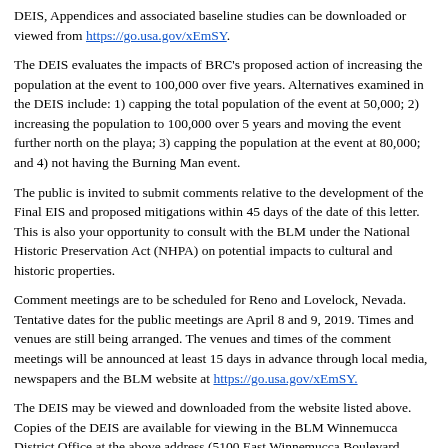DEIS, Appendices and associated baseline studies can be downloaded or viewed from https://go.usa.gov/xEmSY.
The DEIS evaluates the impacts of BRC's proposed action of increasing the population at the event to 100,000 over five years. Alternatives examined in the DEIS include: 1) capping the total population of the event at 50,000; 2) increasing the population to 100,000 over 5 years and moving the event further north on the playa; 3) capping the population at the event at 80,000; and 4) not having the Burning Man event.
The public is invited to submit comments relative to the development of the Final EIS and proposed mitigations within 45 days of the date of this letter. This is also your opportunity to consult with the BLM under the National Historic Preservation Act (NHPA) on potential impacts to cultural and historic properties.
Comment meetings are to be scheduled for Reno and Lovelock, Nevada. Tentative dates for the public meetings are April 8 and 9, 2019. Times and venues are still being arranged. The venues and times of the comment meetings will be announced at least 15 days in advance through local media, newspapers and the BLM website at https://go.usa.gov/xEmSY.
The DEIS may be viewed and downloaded from the website listed above. Copies of the DEIS are available for viewing in the BLM Winnemucca District Office at the above address (5100 East Winnemucca Boulevard, Winnemucca Nevada 89445); and at the BLM Nevada State Office, 1340